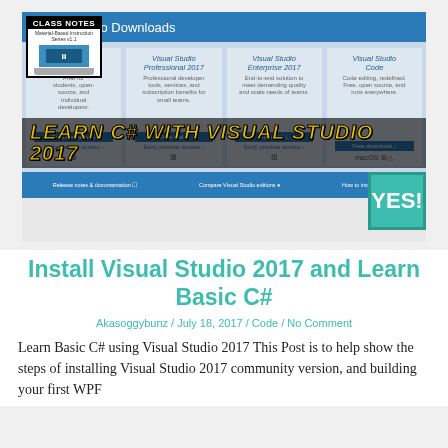[Figure (screenshot): Screenshot of Visual Studio Downloads page showing Visual Studio Professional 2017, Visual Studio Enterprise 2017, and Visual Studio Code download cards, with a Class Notes badge overlay and 'LEARN C# WITH VISUAL STUDIO 2017' banner text, and a 'YES!' teal badge in the bottom-right corner.]
Install Visual Studio 2017 and Learn Basic C#
Akasoggybunz / July 18, 2017 / Code / No Comment
Learn Basic C# using Visual Studio 2017 This Post is to help show the steps of installing Visual Studio 2017 community version, and building your first WPF